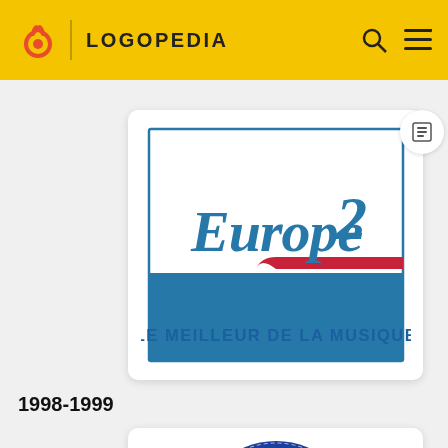LOGOPEDIA
[Figure (logo): Europe 2 logo with cursive blue 'Europe2' text, red swoosh stripe, blue rectangle bottom half, tagline 'LE MEILLEUR DE LA MUSIQUE' in blue bold caps]
1998-1999
[Figure (logo): Europe 2 spherical 3D logo with blue and red circular design, partially visible]